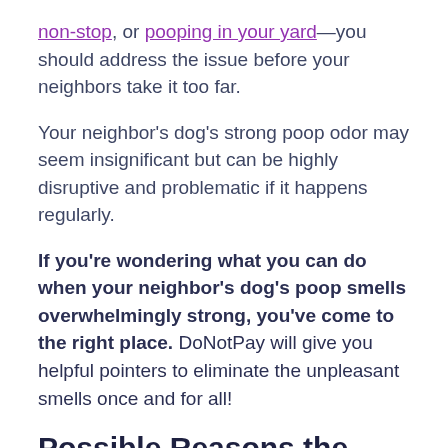non-stop, or pooping in your yard—you should address the issue before your neighbors take it too far.
Your neighbor's dog's strong poop odor may seem insignificant but can be highly disruptive and problematic if it happens regularly.
If you're wondering what you can do when your neighbor's dog's poop smells overwhelmingly strong, you've come to the right place. DoNotPay will give you helpful pointers to eliminate the unpleasant smells once and for all!
Possible Reasons the Neighbor's Yard Smells Like